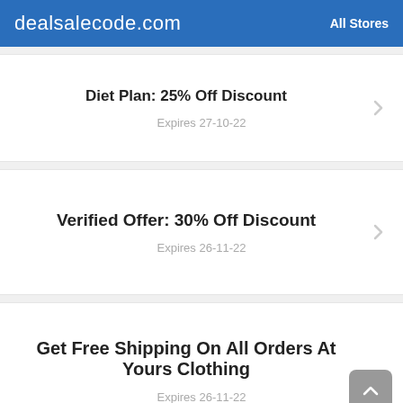dealsalecode.com | All Stores
Diet Plan: 25% Off Discount
Expires 27-10-22
Verified Offer: 30% Off Discount
Expires 26-11-22
Get Free Shipping On All Orders At Yours Clothing
Expires 26-11-22